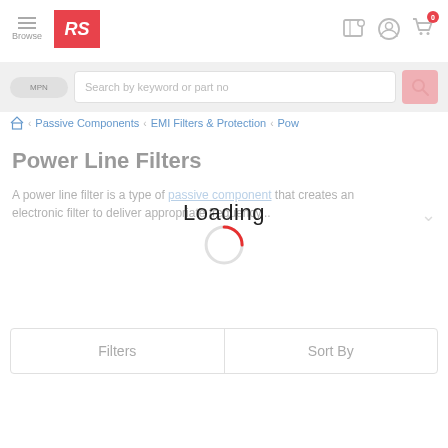[Figure (screenshot): RS Components website header with hamburger menu, RS logo, location pin icon, user account icon, and shopping cart icon with 0 badge]
[Figure (screenshot): Search bar area with MPN toggle button and search input field with placeholder 'Search by keyword or part no' and pink search icon button]
Passive Components > EMI Filters & Protection > Pow
Power Line Filters
A power line filter is a type of passive component that creates an electronic filter to deliver appropriate frequency...
Loading
Filters
Sort By